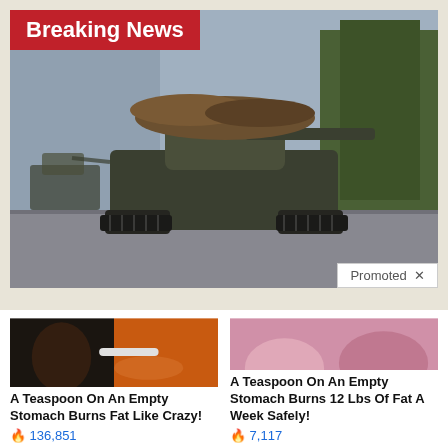[Figure (photo): Military tank covered in brush/camouflage driving on road with trees in background, labeled as Breaking News]
Breaking News
Promoted ×
[Figure (photo): Fitness person and spice on spoon advertisement image]
A Teaspoon On An Empty Stomach Burns Fat Like Crazy!
🔥 136,851
[Figure (photo): Two women in pink clothing sitting on couch advertisement image]
A Teaspoon On An Empty Stomach Burns 12 Lbs Of Fat A Week Safely!
🔥 7,117